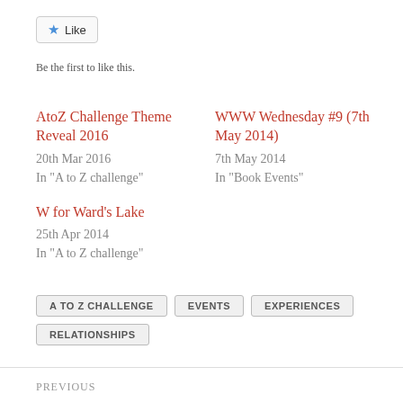[Figure (other): Like button with star icon]
Be the first to like this.
AtoZ Challenge Theme Reveal 2016
20th Mar 2016
In "A to Z challenge"
WWW Wednesday #9 (7th May 2014)
7th May 2014
In "Book Events"
W for Ward's Lake
25th Apr 2014
In "A to Z challenge"
A TO Z CHALLENGE
EVENTS
EXPERIENCES
RELATIONSHIPS
PREVIOUS